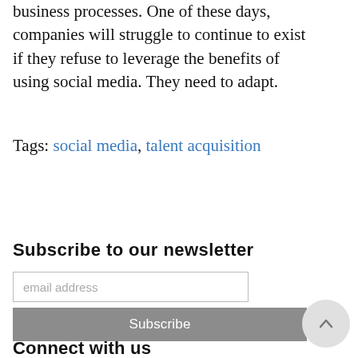business processes. One of these days, companies will struggle to continue to exist if they refuse to leverage the benefits of using social media. They need to adapt.
Tags: social media, talent acquisition
Subscribe to our newsletter
email address
Subscribe
Connect with us